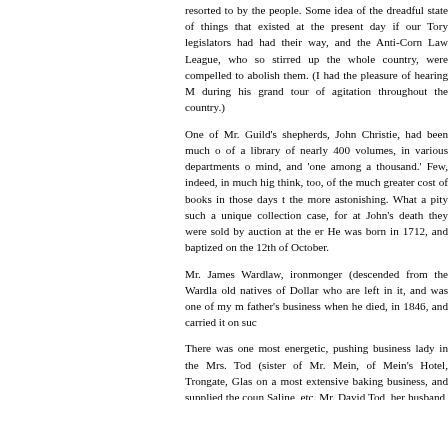resorted to by the people. Some idea of the dreadful state of things that existed at the present day if our Tory legislators had had their way, and the Anti-Corn Law League, who so stirred up the whole country, were compelled to abolish them. (I had the pleasure of hearing Mr. during his grand tour of agitation throughout the country.)
One of Mr. Guild's shepherds, John Christie, had been much celebrated as the possessor of a library of nearly 400 volumes, in various departments of literature. He was a self-taught mind, and 'one among a thousand.' Few, indeed, in much higher positions could boast as much. think, too, of the much greater cost of books in those days than at the present time, which makes the more astonishing. What a pity such a unique collection should have been dispersed, as was the case, for at John's death they were sold by auction at the embarrassingly low price they fetched. He was born in 1712, and baptized on the 12th of October.
Mr. James Wardlaw, ironmonger (descended from the Wardlaws of Logie) was one of the oldest old natives of Dollar who are left in it, and was one of my most intimate friends. He entered his father's business when he died, in 1846, and carried it on successfully since.
There was one most energetic, pushing business lady in the town who did a splendid business — Mrs. Tod (sister of Mr. Mein, of Mein's Hotel, Trongate, Glasgow), who with her husband carried on a most extensive baking business, and supplied the country round Dollar to a great extent, viz., Saline, etc. Mr. David Tod, her husband, was of a quiet, retiring disposition, both of which qualities they carried on as well. They had only two of a family, George and a daughter, both promising youth; but who were both cut off at an early age, and when first one and then the other was taken, there was one sadly torn heart amongst the teachers of Dollar Academy.
Mr. Tod died on the 14th of January 1845. After his death Mrs. Tod continued the business, and died on the 7th of June 1850. George (a very excellent young man) died in the prime of life at the age of thirty, on the 6th of December 1852. Four little shrubs mark the spot in the Dollar churchyard.
Their premises in the old town now go by the name of 'The Lo
Return to